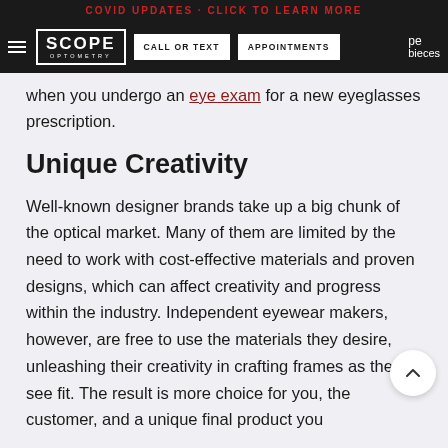COVID UPDATES · CLICK TO LEARN MORE
SCOPE OPTOMETRY | CALL OR TEXT | APPOINTMENTS
when you undergo an eye exam for a new eyeglasses prescription.
Unique Creativity
Well-known designer brands take up a big chunk of the optical market. Many of them are limited by the need to work with cost-effective materials and proven designs, which can affect creativity and progress within the industry. Independent eyewear makers, however, are free to use the materials they desire, unleashing their creativity in crafting frames as they see fit. The result is more choice for you, the customer, and a unique final product you